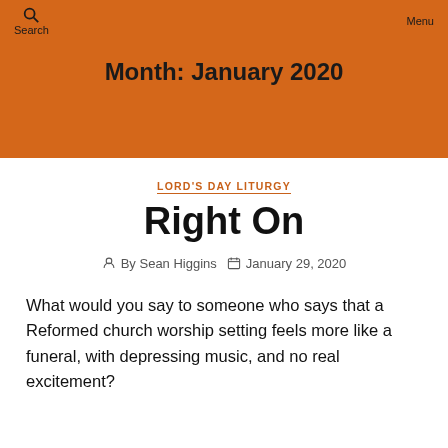Search  [site title]  Menu
Month: January 2020
LORD'S DAY LITURGY
Right On
By Sean Higgins  January 29, 2020
What would you say to someone who says that a Reformed church worship setting feels more like a funeral, with depressing music, and no real excitement?